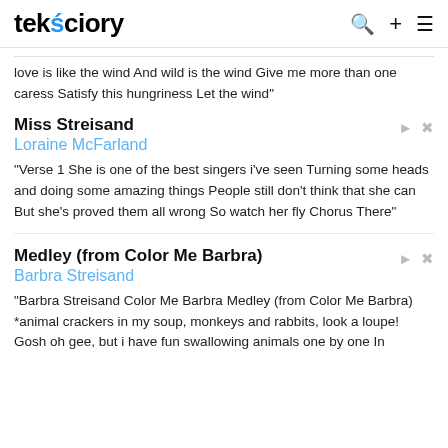tekściory
love is like the wind And wild is the wind Give me more than one caress Satisfy this hungriness Let the wind"
Miss Streisand
Loraine McFarland
"Verse 1 She is one of the best singers i've seen Turning some heads and doing some amazing things People still don't think that she can But she's proved them all wrong So watch her fly Chorus There"
Medley (from Color Me Barbra)
Barbra Streisand
"Barbra Streisand Color Me Barbra Medley (from Color Me Barbra) *animal crackers in my soup, monkeys and rabbits, look a loupe! Gosh oh gee, but i have fun swallowing animals one by one In